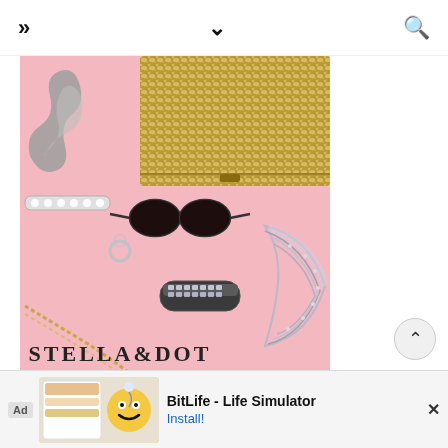» ∨ 🔍
[Figure (photo): Stella & Dot fashion accessories flatlay on pink background: sequin gold clutch purse, gray ribbon bow choker with rhinestones, sunglasses, crystal wrap bracelet, rhinestone collar necklace, gold chain necklace, small ring, all arranged on pink surface. 'STELLA&DOT' logo text at bottom.]
[Figure (screenshot): Mobile advertisement banner for BitLife - Life Simulator app. Shows 'Ad' label, app gameplay screenshot with character names, BitLife logo with yellow smiley face emoji, app title 'BitLife - Life Simulator', and 'Install!' call-to-action link in blue.]